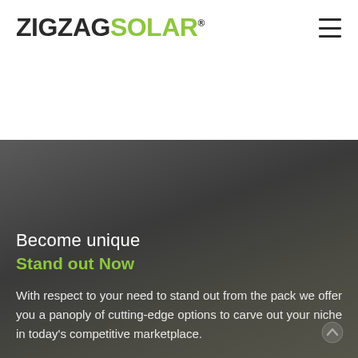[Figure (logo): ZigZag Solar logo with ZIGZAG in dark/black text and SOLAR in green text, with registered trademark symbol]
[Figure (other): Hamburger/navigation menu icon with three horizontal lines in top-right corner]
[Figure (photo): Dark gradient background section — dark grey gradient with subtle green/yellow tones]
Become unique
Stand out Now
With respect to your need to stand out from the pack we offer you a panoply of cutting-edge options to carve out your niche in today's competitive marketplace.